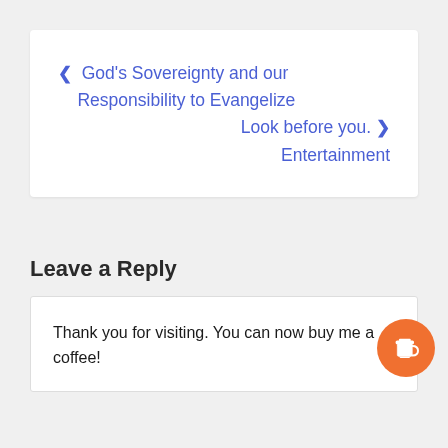< God's Sovereignty and our Responsibility to Evangelize
Look before you. > Entertainment
Leave a Reply
Thank you for visiting. You can now buy me a coffee!